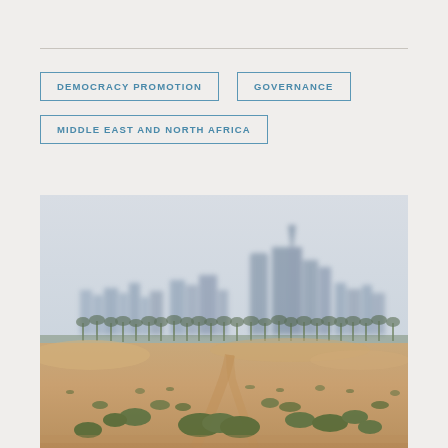DEMOCRACY PROMOTION
GOVERNANCE
MIDDLE EAST AND NORTH AFRICA
[Figure (photo): Desert landscape with sandy ground, sparse green shrubs in the foreground, a row of palm trees in the middle distance, and a hazy city skyline with tall skyscrapers visible in the misty background.]